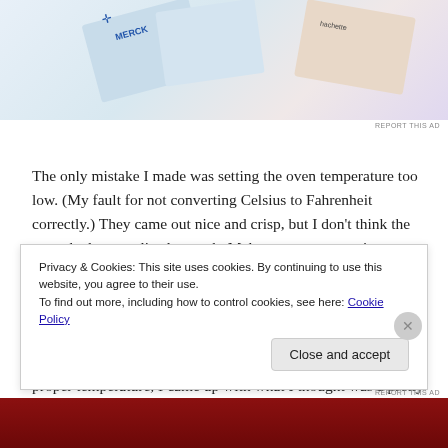[Figure (photo): Partial top image showing overlapping book/catalog covers including Merck branded materials with blue cross symbol and Hachette labeled items on a light background]
The only mistake I made was setting the oven temperature too low. (My fault for not converting Celsius to Fahrenheit correctly.) They came out nice and crisp, but I don't think the sugar had caramelized enough. Make sure your oven is set at 400°F.
I also had some difficulty flipping them over halfway through baking, as they were still very limp and doughy. While this might not have been a problem if they were baked at the proper temperature, I came up with what I thought was a pretty
Privacy & Cookies: This site uses cookies. By continuing to use this website, you agree to their use.
To find out more, including how to control cookies, see here: Cookie Policy
Close and accept